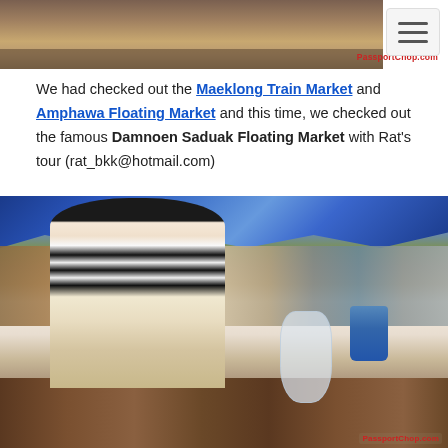[Figure (photo): Partial view of a market or outdoor scene, cropped at top of page]
We had checked out the Maeklong Train Market and Amphawa Floating Market and this time, we checked out the famous Damnoen Saduak Floating Market with Rat's tour (rat_bkk@hotmail.com)
[Figure (photo): A smiling young woman in a black and white striped shirt sitting in a wooden boat at the Damnoen Saduak Floating Market in Thailand. Blue canopy overhead, market stalls and people visible in background. PassportChop.com watermark.]